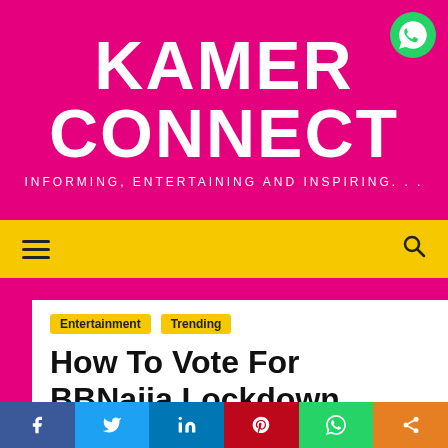KAMER CONNECT
INFORMING, ENTERTAINING AND INSPIRING...
Navigation bar with hamburger menu and search icon
Entertainment   Trending
How To Vote For BBNaija Lockdown Housemates